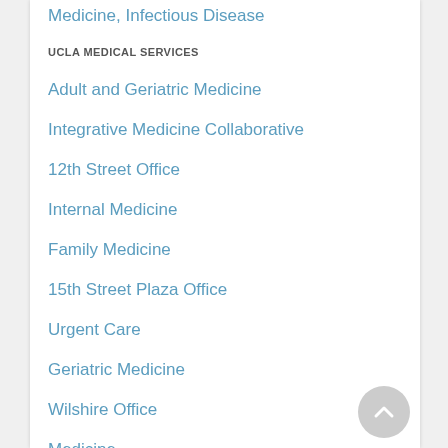Medicine, Infectious Disease
UCLA MEDICAL SERVICES
Adult and Geriatric Medicine
Integrative Medicine Collaborative
12th Street Office
Internal Medicine
Family Medicine
15th Street Plaza Office
Urgent Care
Geriatric Medicine
Wilshire Office
Medicine
Pacific Palisades Office